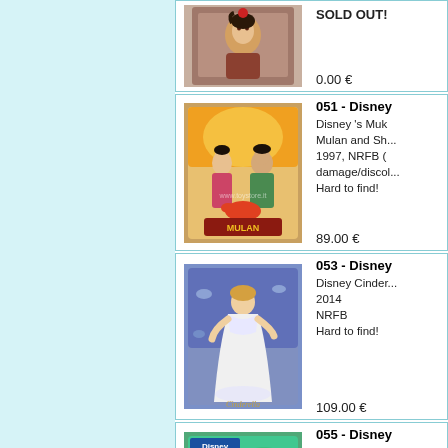[Figure (photo): Partially visible product row at top: Disney Mulan doll in box, showing upper portion only. SOLD OUT! label and price 0.00 € visible.]
SOLD OUT!
0.00 €
[Figure (photo): Disney Mulan and Shang two-pack doll set in box, 1997 NRFB.]
051 - Disney
Disney 's Mulan Mulan and Sh... 1997, NRFB (damage/discol... Hard to find!
89.00 €
[Figure (photo): Disney Cinderella doll in white wedding gown, 2014, NRFB.]
053 - Disney
Disney Cinder... 2014
NRFB
Hard to find!
109.00 €
[Figure (photo): Disney Mulan Enchanted Seasons doll, partial view.]
055 - Disney
Disney Mulan Enchanted Sea... Fourth in a Sea... 2001, NRFB